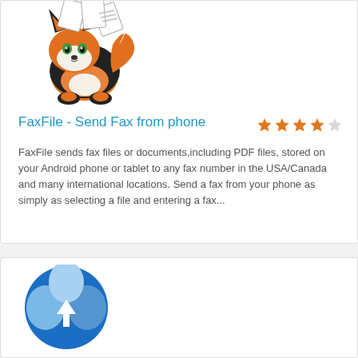[Figure (illustration): Cartoon fox mascot holding papers/fax documents, with black and orange coloring and green eyes]
FaxFile - Send Fax from phone
[Figure (infographic): Star rating: 4 out of 5 stars (4 filled orange stars, 1 empty/gray star)]
FaxFile sends fax files or documents,including PDF files, stored on your Android phone or tablet to any fax number in the USA/Canada and many international locations. Send a fax from your phone as simply as selecting a file and entering a fax...
[Figure (logo): Blue circular logo with white Y/triangle shape in center, resembling a peace sign or globe, in shades of blue]